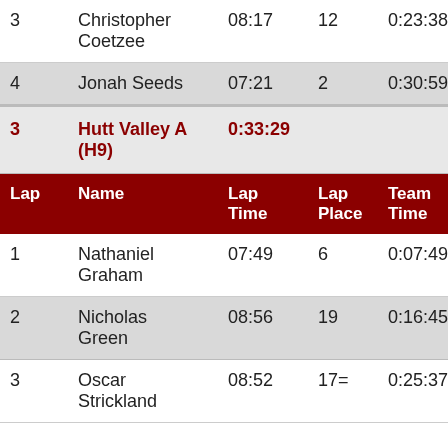| Lap | Name | Lap Time | Lap Place | Team Time | Team Place |
| --- | --- | --- | --- | --- | --- |
| 3 | Christopher Coetzee | 08:17 | 12 | 0:23:38 | 2 |
| 4 | Jonah Seeds | 07:21 | 2 | 0:30:59 | 2 |
| 3 | Hutt Valley A (H9) | 0:33:29 |  |  |  |
| Lap | Name | Lap Time | Lap Place | Team Time | Team Place |
| 1 | Nathaniel Graham | 07:49 | 6 | 0:07:49 | 3 |
| 2 | Nicholas Green | 08:56 | 19 | 0:16:45 | 3 |
| 3 | Oscar Strickland | 08:52 | 17= | 0:25:37 | 4 |